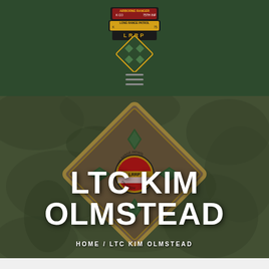[Figure (logo): Military unit insignia showing Airborne Ranger 75th Infantry LRRP patch above a 4th Infantry Division diamond patch with four ivy leaves]
[Figure (photo): Close-up photo of an embroidered 4th Infantry Division LRRP patch on olive drab camouflage fabric, diamond shape with green ivy leaves and central circular LRRP badge]
LTC KIM OLMSTEAD
HOME / LTC KIM OLMSTEAD